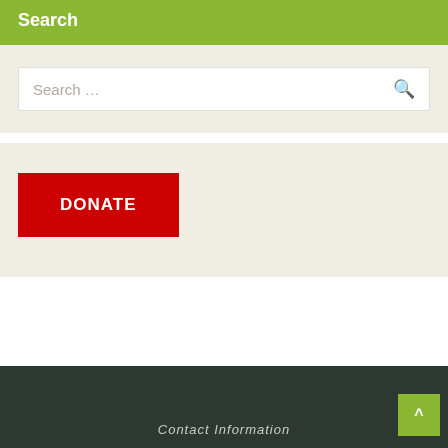Search
Search …
[Figure (other): DONATE red button]
Contact Information